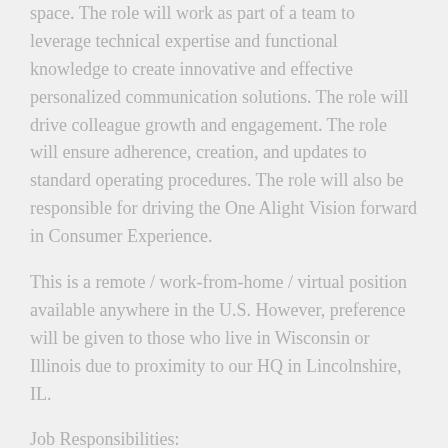space.  The role will work as part of a team to leverage technical expertise and functional knowledge to create innovative and effective personalized communication solutions. The role will drive colleague growth and engagement. The role will ensure adherence, creation, and updates to standard operating procedures.  The role will also be responsible for driving the One Alight Vision forward in Consumer Experience.
This is a remote / work-from-home / virtual position available anywhere in the U.S. However, preference will be given to those who live in Wisconsin or Illinois due to proximity to our HQ in Lincolnshire, IL.
Job Responsibilities:
* Provide Quadient Inspire (GMC) software support and vendor coordination
* Provide UltraQuest software support and vendor coordination